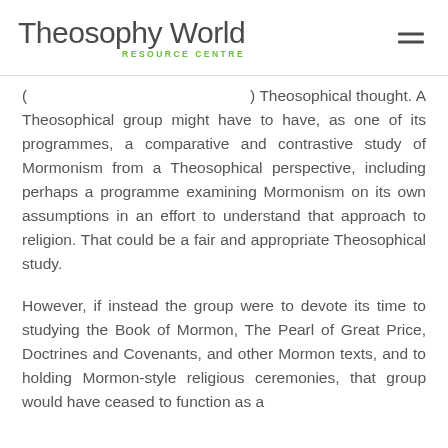Theosophy World RESOURCE CENTRE
( ... ) Theosophical thought. A Theosophical group might have to have, as one of its programmes, a comparative and contrastive study of Mormonism from a Theosophical perspective, including perhaps a programme examining Mormonism on its own assumptions in an effort to understand that approach to religion. That could be a fair and appropriate Theosophical study.
However, if instead the group were to devote its time to studying the Book of Mormon, The Pearl of Great Price, Doctrines and Covenants, and other Mormon texts, and to holding Mormon-style religious ceremonies, that group would have ceased to function as a